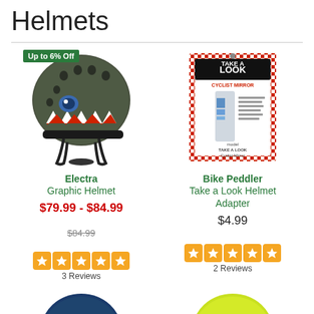Helmets
[Figure (photo): Electra graphic helmet with shark mouth design, dark olive green color, with 'Up to 6% Off' badge]
Electra
Graphic Helmet
$79.99 - $84.99
$84.99
3 Reviews
[Figure (photo): Bike Peddler Take a Look Cyclist Mirror in retail packaging with red checkerboard border]
Bike Peddler
Take a Look Helmet Adapter
$4.99
2 Reviews
[Figure (photo): Partial view of a dark blue helmet at the bottom left]
[Figure (photo): Partial view of a yellow-green helmet at the bottom right]